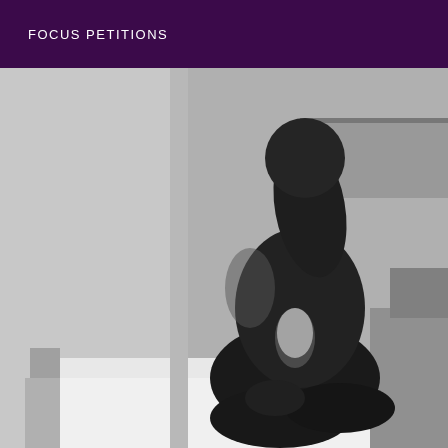FOCUS PETITIONS
[Figure (photo): Black and white photograph of a nude figure seated on a bed, viewed from the side, in a room with a wall and furniture visible in the background.]